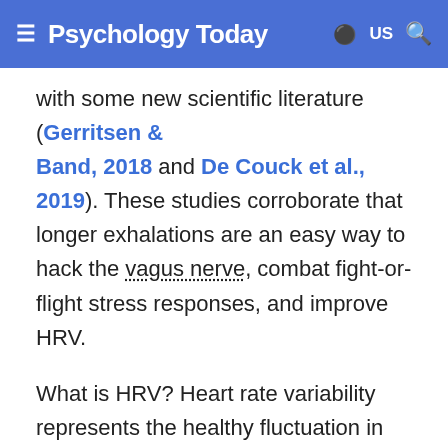Psychology Today
with some new scientific literature (Gerritsen & Band, 2018 and De Couck et al., 2019). These studies corroborate that longer exhalations are an easy way to hack the vagus nerve, combat fight-or-flight stress responses, and improve HRV.
What is HRV? Heart rate variability represents the healthy fluctuation in beat-to-beat intervals of a human or animal's heart rate. During the inhalation phase of a breathing cycle, the sympathetic nervous system (SNS) facilitates a brief acceleration of heart rate; during exhalation, the vagus nerve secretes a transmitter substance (ACh) which causes deceleration within beat-to-